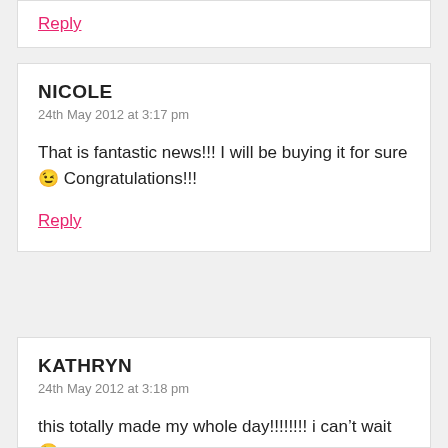Reply
NICOLE
24th May 2012 at 3:17 pm
That is fantastic news!!! I will be buying it for sure 🙂 Congratulations!!!
Reply
KATHRYN
24th May 2012 at 3:18 pm
this totally made my whole day!!!!!!!! i can't wait 🙂
anyways, i need some help-my family isn't quite open to most of your recipes (which is why i